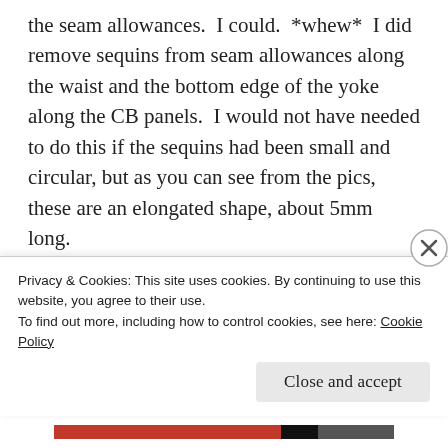the seam allowances.  I could.  *whew*  I did remove sequins from seam allowances along the waist and the bottom edge of the yoke along the CB panels.  I would not have needed to do this if the sequins had been small and circular, but as you can see from the pics, these are an elongated shape, about 5mm long.
What about pressing seam allowances on a sequin fabric?  I didn't catchstitch each seam allowance in place, which, as I write this, seems like it should have been the default for this type of fabric. I used a linen pressing cloth and a low iron and carefully
Privacy & Cookies: This site uses cookies. By continuing to use this website, you agree to their use.
To find out more, including how to control cookies, see here: Cookie Policy
Close and accept